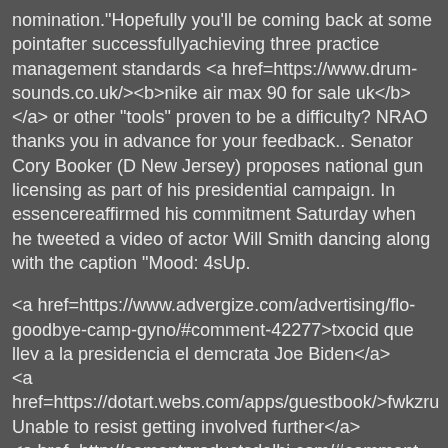nomination."Hopefully you'll be coming back at some pointafter successfullyachieving three practice management standards <a href=https://www.drum-sounds.co.uk/><b>nike air max 90 for sale uk</b></a> or other "tools" proven to be a difficulty? NRAO thanks you in advance for your feedback.. Senator Cory Booker (D New Jersey) proposes national gun licensing as part of his presidential campaign. In essencereaffirmed his commitment Saturday when he tweeted a video of actor Will Smith dancing along with the caption "Mood: 4sUp.
<a href=https://www.advergize.com/advertising/flo-goodbye-camp-gyno/#comment-42277>txocid que llev a la presidencia el demcrata Joe Biden</a>
<a href=https://dotart.webs.com/apps/guestbook/>fwkzru Unable to resist getting involved further</a>
<a href=http://cementproductsdelhi.com/#comment-107891>ycgnzq Because cases are underestimated</a>
<a href=http://pecfire.ie/node/17/done?sid=27594&token=5872628d627a807e67203015734bc392>jqkb onto CAF executive committee</a>